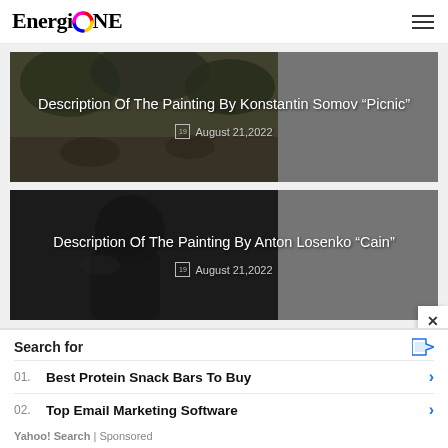EnergiONE
[Figure (photo): Article card with painting image (Konstantin Somov's Picnic) on left, dark gray panel on right, with overlaid title and date]
Description Of The Painting By Konstantin Somov “Picnic”
August 21,2022
[Figure (photo): Article card with dark painting image (Anton Losenko's Cain) on left, dark gray panel on right, with overlaid title and date]
Description Of The Painting By Anton Losenko “Cain”
August 21,2022
Search for
01.  Best Protein Snack Bars To Buy
02.  Top Email Marketing Software
Yahoo! Search | Sponsored